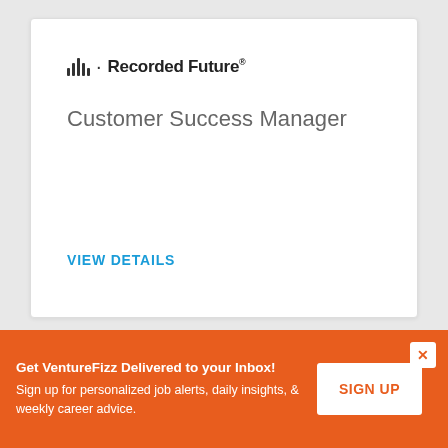[Figure (logo): Recorded Future logo with bar chart icon and text]
Customer Success Manager
VIEW DETAILS
Get VentureFizz Delivered to your Inbox! Sign up for personalized job alerts, daily insights, & weekly career advice.
SIGN UP